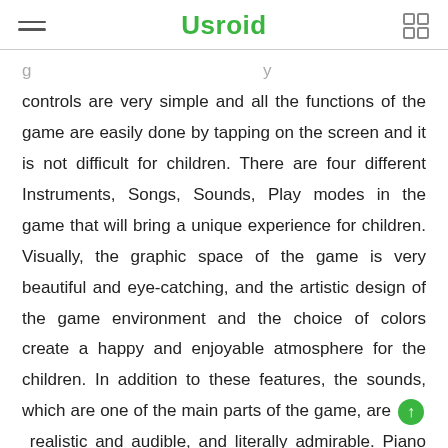Usroid
controls are very simple and all the functions of the game are easily done by tapping on the screen and it is not difficult for children. There are four different Instruments, Songs, Sounds, Play modes in the game that will bring a unique experience for children. Visually, the graphic space of the game is very beautiful and eye-catching, and the artistic design of the game environment and the choice of colors create a happy and enjoyable atmosphere for the children. In addition to these features, the sounds, which are one of the main parts of the game, are very realistic and audible, and literally admirable. Piano Kids – Music & Songs with over 10,000,000 installs and